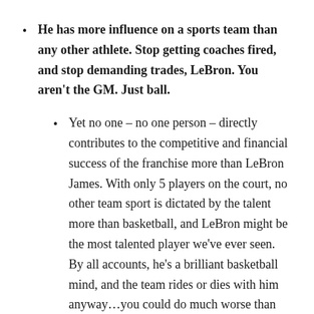He has more influence on a sports team than any other athlete. Stop getting coaches fired, and stop demanding trades, LeBron. You aren't the GM. Just ball.
Yet no one – no one person – directly contributes to the competitive and financial success of the franchise more than LeBron James. With only 5 players on the court, no other team sport is dictated by the talent more than basketball, and LeBron might be the most talented player we've ever seen. By all accounts, he's a brilliant basketball mind, and the team rides or dies with him anyway…you could do much worse than LeBron as a GM, not to mention he isn't thinking about the long-